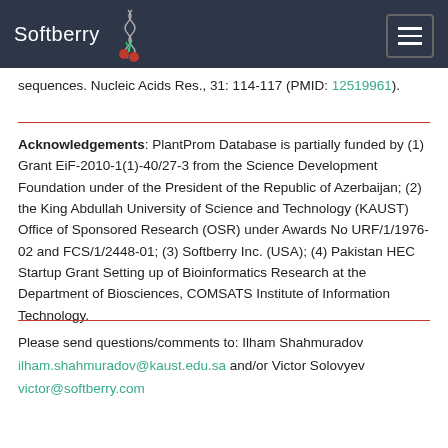Softberry
sequences. Nucleic Acids Res., 31: 114-117 (PMID: 12519961).
Acknowledgements: PlantProm Database is partially funded by (1) Grant EiF-2010-1(1)-40/27-3 from the Science Development Foundation under of the President of the Republic of Azerbaijan; (2) the King Abdullah University of Science and Technology (KAUST) Office of Sponsored Research (OSR) under Awards No URF/1/1976-02 and FCS/1/2448-01; (3) Softberry Inc. (USA); (4) Pakistan HEC Startup Grant Setting up of Bioinformatics Research at the Department of Biosciences, COMSATS Institute of Information Technology.
Please send questions/comments to: Ilham Shahmuradov ilham.shahmuradov@kaust.edu.sa and/or Victor Solovyev victor@softberry.com